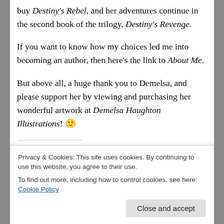buy Destiny's Rebel, and her adventures continue in the second book of the trilogy, Destiny's Revenge.
If you want to know how my choices led me into becoming an author, then here's the link to About Me.
But above all, a huge thank you to Demelsa, and please support her by viewing and purchasing her wonderful artwork at Demelsa Haughton Illustrations! 🙂
Share this:
Privacy & Cookies: This site uses cookies. By continuing to use this website, you agree to their use. To find out more, including how to control cookies, see here: Cookie Policy